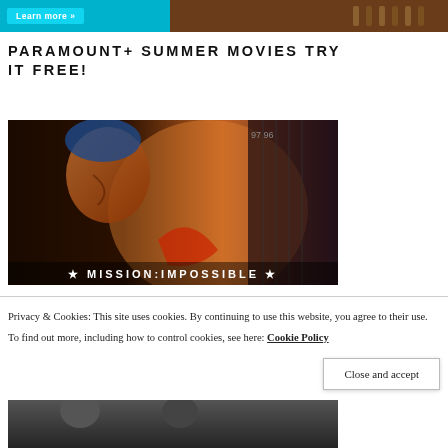[Figure (other): Top banner advertisement with 'Learn more »' button, blue and brown background with guitar/instrument imagery]
PARAMOUNT+ SUMMER MOVIES TRY IT FREE!
[Figure (photo): Mission: Impossible movie promotional image showing a man in profile against a dramatic backdrop, with 'MISSION:IMPOSSIBLE' text overlay with stars]
Privacy & Cookies: This site uses cookies. By continuing to use this website, you agree to their use.
To find out more, including how to control cookies, see here: Cookie Policy
Close and accept
[Figure (photo): Bottom strip showing partial image of another movie or scene]